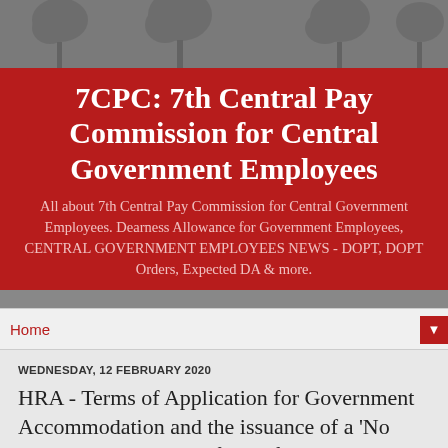7CPC: 7th Central Pay Commission for Central Government Employees
7CPC: 7th Central Pay Commission for Central Government Employees
All about 7th Central Pay Commission for Central Government Employees. Dearness Allowance for Government Employees, CENTRAL GOVERNMENT EMPLOYEES NEWS - DOPT, DOPT Orders, Expected DA & more.
Home
WEDNESDAY, 12 FEBRUARY 2020
HRA - Terms of Application for Government Accommodation and the issuance of a 'No Accommodation Certificate' for the admissibility of...